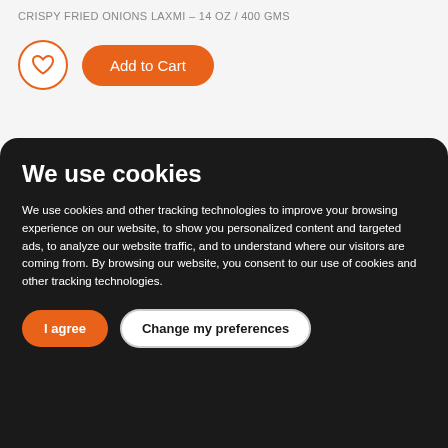CRISPY FRIED ONIONS LAXMI – 14 OZ / 400 GMS
[Figure (screenshot): Add to Cart button with heart/wishlist icon button and orange 'Add to Cart' rounded button]
We use cookies
We use cookies and other tracking technologies to improve your browsing experience on our website, to show you personalized content and targeted ads, to analyze our website traffic, and to understand where our visitors are coming from. By browsing our website, you consent to our use of cookies and other tracking technologies.
I agree | Change my preferences